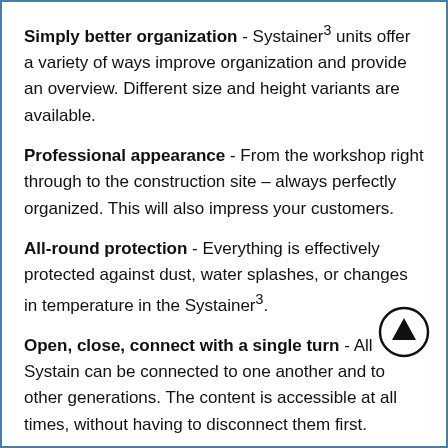Simply better organization - Systainer³ units offer a variety of ways improve organization and provide an overview. Different size and height variants are available.
Professional appearance - From the workshop right through to the construction site – always perfectly organized. This will also impress your customers.
All-round protection - Everything is effectively protected against dust, water splashes, or changes in temperature in the Systainer³.
Open, close, connect with a single turn - All Systain can be connected to one another and to other generations. The content is accessible at all times, without having to disconnect them first.